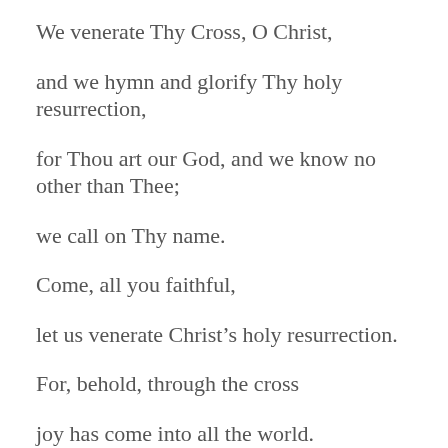We venerate Thy Cross, O Christ,
and we hymn and glorify Thy holy resurrection,
for Thou art our God, and we know no other than Thee;
we call on Thy name.
Come, all you faithful,
let us venerate Christ’s holy resurrection.
For, behold, through the cross
joy has come into all the world.
Ever blessing the Lord,